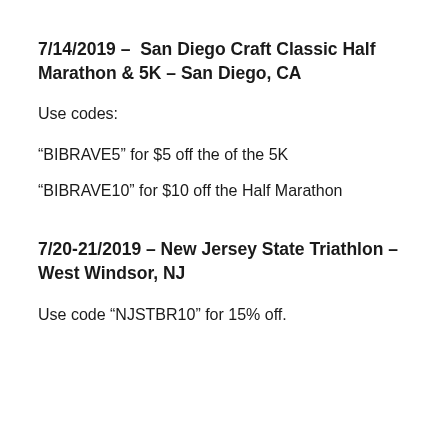7/14/2019 – San Diego Craft Classic Half Marathon & 5K – San Diego, CA
Use codes:
“BIBRAVE5” for $5 off the of the 5K
“BIBRAVE10” for $10 off the Half Marathon
7/20-21/2019 – New Jersey State Triathlon – West Windsor, NJ
Use code “NJSTBR10” for 15% off.